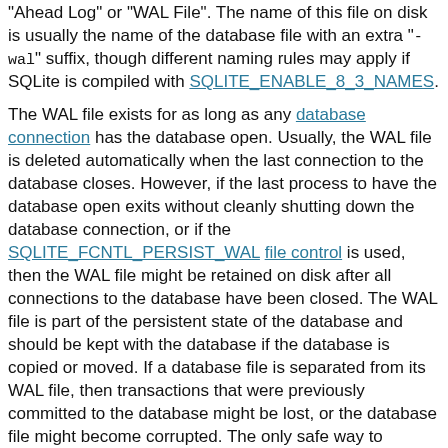"Ahead Log" or "WAL File". The name of this file on disk is usually the name of the database file with an extra "-wal" suffix, though different naming rules may apply if SQLite is compiled with SQLITE_ENABLE_8_3_NAMES.
The WAL file exists for as long as any database connection has the database open. Usually, the WAL file is deleted automatically when the last connection to the database closes. However, if the last process to have the database open exits without cleanly shutting down the database connection, or if the SQLITE_FCNTL_PERSIST_WAL file control is used, then the WAL file might be retained on disk after all connections to the database have been closed. The WAL file is part of the persistent state of the database and should be kept with the database if the database is copied or moved. If a database file is separated from its WAL file, then transactions that were previously committed to the database might be lost, or the database file might become corrupted. The only safe way to remove a WAL file is to open the database file using one of the sqlite3_open() interfaces then immediately close the database using sqlite3_close().
The WAL file format is precisely defined and is cross-platform.
5. Read-Only Databases